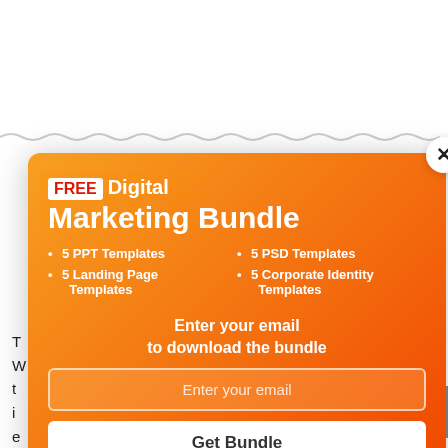[Figure (screenshot): A popup modal advertisement for a FREE Digital Marketing Bundle over a webpage background. The modal has an orange-to-red gradient background with a close button (X) in the top-right corner. It contains: a white badge with red text 'FREE', followed by 'Digital Marketing Bundle' in white bold text; a two-column bullet list of features: '5 PPT Templates', '5 Landing Page Templates', '5 PSD Templates', '5 Corporate Identity Templates'; a call-to-action 'Enter your email to download the bundle'; an email input field; and a 'Get Bundle' white button. Behind the modal is a webpage with a blue link containing 'cispam' visible, and partial body text about suspicious activity.]
T... ect your W... attacks. It limits t... pts. The user and i... ans of the e... hat are delive... immediately when a suspicious activity is noticed.